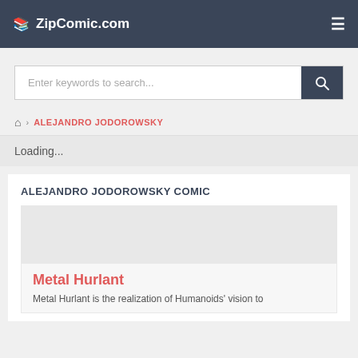ZipComic.com
Enter keywords to search...
🏠 › ALEJANDRO JODOROWSKY
Loading...
ALEJANDRO JODOROWSKY COMIC
Metal Hurlant
Metal Hurlant is the realization of Humanoids' vision to